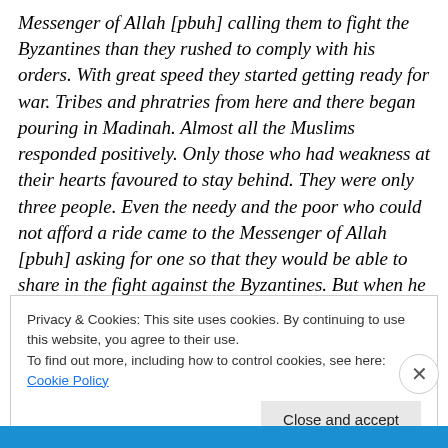Messenger of Allah [pbuh] calling them to fight the Byzantines than they rushed to comply with his orders. With great speed they started getting ready for war. Tribes and phratries from here and there began pouring in Madinah. Almost all the Muslims responded positively. Only those who had weakness at their hearts favoured to stay behind. They were only three people. Even the needy and the poor who could not afford a ride came to the Messenger of Allah [pbuh] asking for one so that they would be able to share in the fight against the Byzantines. But when he said:
Privacy & Cookies: This site uses cookies. By continuing to use this website, you agree to their use.
To find out more, including how to control cookies, see here: Cookie Policy